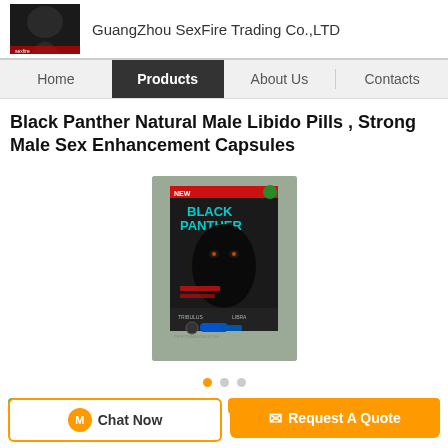GuangZhou SexFire Trading Co.,LTD
Black Panther Natural Male Libido Pills , Strong Male Sex Enhancement Capsules
[Figure (photo): A hand holding a Black Panther brand supplement product card/blister pack with black packaging showing a panther image]
Chat Now | Request A Quote